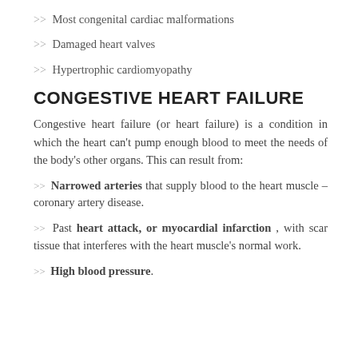>> Most congenital cardiac malformations
>> Damaged heart valves
>> Hypertrophic cardiomyopathy
CONGESTIVE HEART FAILURE
Congestive heart failure (or heart failure) is a condition in which the heart can't pump enough blood to meet the needs of the body's other organs. This can result from:
>> Narrowed arteries that supply blood to the heart muscle – coronary artery disease.
>> Past heart attack, or myocardial infarction , with scar tissue that interferes with the heart muscle's normal work.
>> High blood pressure.